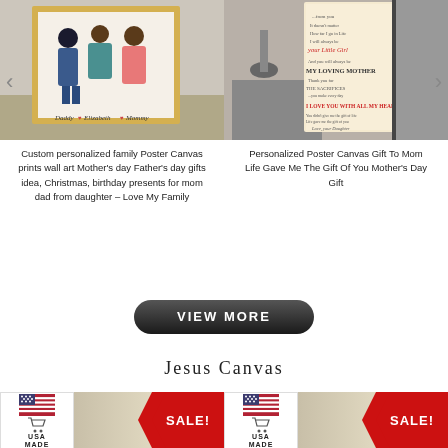[Figure (photo): Custom personalized family poster canvas print showing two adults and a child from behind, displayed in a room setting with a golden frame]
[Figure (photo): Personalized poster canvas gift for mom with text about life giving the gift of you, displayed in a room setting]
Custom personalized family Poster Canvas prints wall art Mother's day Father's day gifts idea, Christmas, birthday presents for mom dad from daughter – Love My Family
Personalized Poster Canvas Gift To Mom Life Gave Me The Gift Of You Mother's Day Gift
[Figure (other): VIEW MORE button - dark rounded rectangle button]
Jesus Canvas
[Figure (photo): Bottom left product thumbnail with USA MADE badge and SALE red banner]
[Figure (photo): Bottom right product thumbnail with USA MADE badge and SALE red banner]